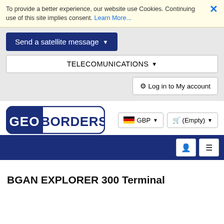To provide a better experience, our website use Cookies. Continuing use of this site implies consent. Learn More...
[Figure (screenshot): Website navigation UI with Send a satellite message button, TELECOMUNICATIONS dropdown, Log in to My account button]
[Figure (logo): GEOBORDERS logo - blue rounded rectangle with GEO in white on dark blue left panel and BORDERS in dark blue on white right panel]
GBP (Empty)
BGAN EXPLORER 300 Terminal